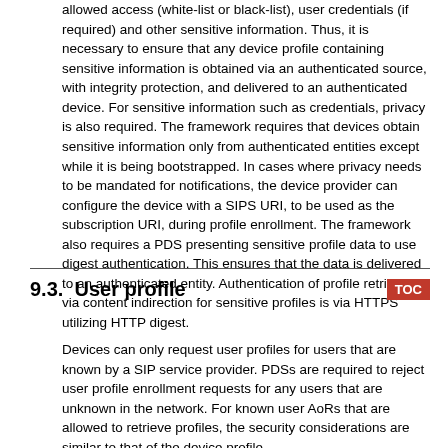allowed access (white-list or black-list), user credentials (if required) and other sensitive information. Thus, it is necessary to ensure that any device profile containing sensitive information is obtained via an authenticated source, with integrity protection, and delivered to an authenticated device. For sensitive information such as credentials, privacy is also required. The framework requires that devices obtain sensitive information only from authenticated entities except while it is being bootstrapped. In cases where privacy needs to be mandated for notifications, the device provider can configure the device with a SIPS URI, to be used as the subscription URI, during profile enrollment. The framework also requires a PDS presenting sensitive profile data to use digest authentication. This ensures that the data is delivered to an authenticated entity. Authentication of profile retrieval via content indirection for sensitive profiles is via HTTPS utilizing HTTP digest.
9.3.  User profile
Devices can only request user profiles for users that are known by a SIP service provider. PDSs are required to reject user profile enrollment requests for any users that are unknown in the network. For known user AoRs that are allowed to retrieve profiles, the security considerations are similar to that of the device profile